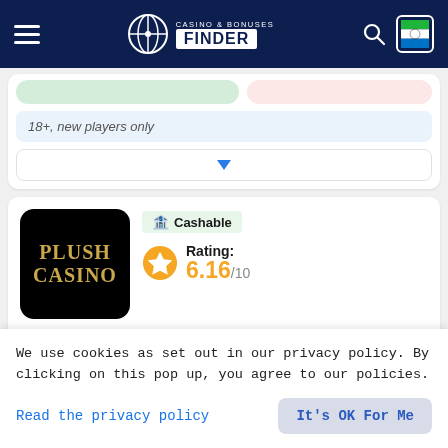CASINO & BONUSES FINDER
18+, new players only
[Figure (screenshot): Dropdown bar with blue triangle arrow]
[Figure (logo): Plush Casino logo - black rounded square with gold text]
Cashable
Rating: 6.16/10
Available for players from Sierra Leone
We use cookies as set out in our privacy policy. By clicking on this pop up, you agree to our policies.
Read the privacy policy
It's OK For Me